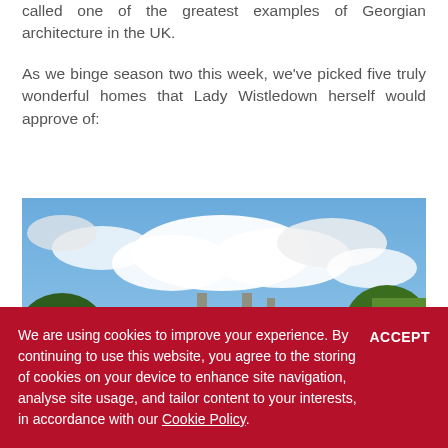called one of the greatest examples of Georgian architecture in the UK.
As we binge season two this week, we've picked five truly wonderful homes that Lady Wistledown herself would approve of:
[Figure (photo): Exterior photograph of a Georgian manor house surrounded by trees under a blue sky with white clouds]
We are using cookies to improve your experience. By continuing to use this website, you agree to the storing of cookies on your device to enhance site navigation, analyse site usage, and tailor content to your interests, in accordance with our Cookie Policy.